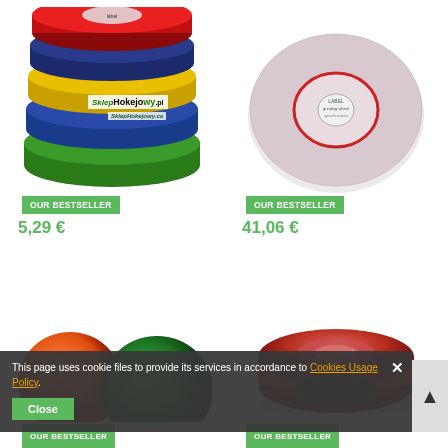[Figure (photo): Stack of colored hockey tape rolls (red, blue, yellow, blue, green) with SklepHokejowy.pl logo overlaid]
OUR BESTSELLER
[Figure (photo): White/pink grinding wheel disc with red circle label in center]
OUR BESTSELLER
5,29 €
41,06 €
[Figure (photo): Two small colored balls (orange and dark green) partially visible]
[Figure (photo): Red/dark hockey puck or disc partially visible]
OUR BESTSELLER
OUR BESTSELLER
This page uses cookie files to provide its services in accordance to Cookies Usage Policy.
Close